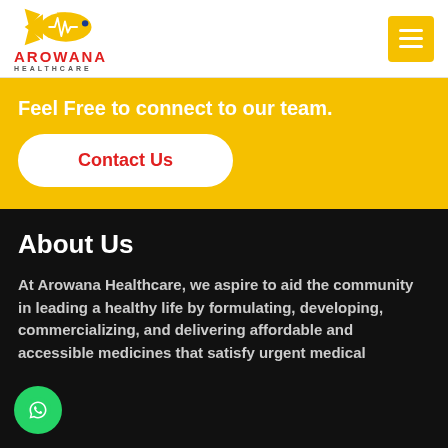[Figure (logo): Arowana Healthcare logo with fish/heartbeat icon in gold and blue, company name in red with HEALTHCARE subtitle in grey]
Feel Free to connect to our team.
Contact Us
About Us
At Arowana Healthcare, we aspire to aid the community in leading a healthy life by formulating, developing, commercializing, and delivering affordable and accessible medicines that satisfy urgent medical